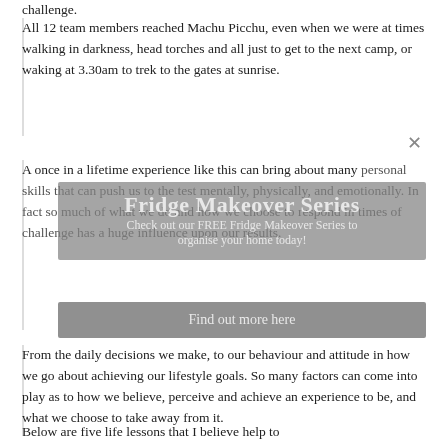challenge.
All 12 team members reached Machu Picchu, even when we were at times walking in darkness, head torches and all just to get to the next camp, or waking at 3.30am to trek to the gates at sunrise.
A once in a lifetime experience like this can bring about many personal skills that can push us to the test mentally, physically, and emotionally. In fact so much of what we do and how we choose to respond in times of challenge has a huge influence upon our results.
Fridge Makeover Series
Check out our FREE Fridge Makeover Series to organise your home today!
Find out more here
From the daily decisions we make, to our behaviour and attitude in how we go about achieving our lifestyle goals. So many factors can come into play as to how we believe, perceive and achieve an experience to be, and what we choose to take away from it.
Below are five life lessons that I believe help to